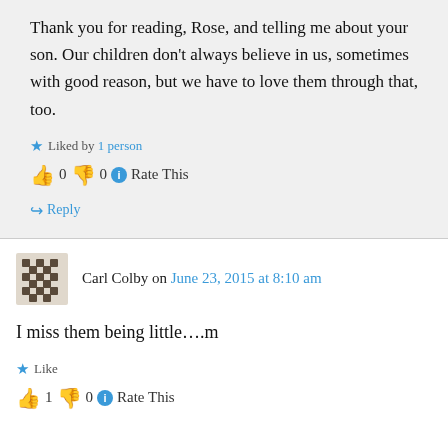Thank you for reading, Rose, and telling me about your son. Our children don't always believe in us, sometimes with good reason, but we have to love them through that, too.
Liked by 1 person
👍 0 👎 0 ℹ Rate This
↳ Reply
Carl Colby on June 23, 2015 at 8:10 am
I miss them being little....m
Like
👍 1 👎 0 ℹ Rate This